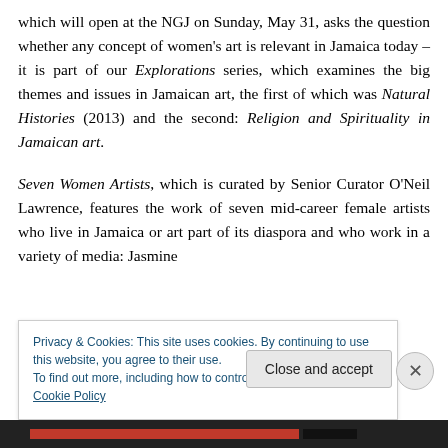which will open at the NGJ on Sunday, May 31, asks the question whether any concept of women's art is relevant in Jamaica today – it is part of our Explorations series, which examines the big themes and issues in Jamaican art, the first of which was Natural Histories (2013) and the second: Religion and Spirituality in Jamaican art.
Seven Women Artists, which is curated by Senior Curator O'Neil Lawrence, features the work of seven mid-career female artists who live in Jamaica or art part of its diaspora and who work in a variety of media: Jasmine
Privacy & Cookies: This site uses cookies. By continuing to use this website, you agree to their use.
To find out more, including how to control cookies, see here: Cookie Policy